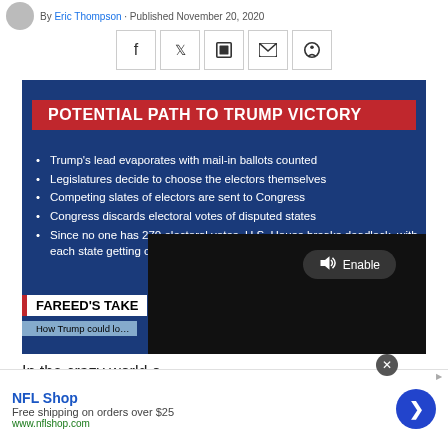By Eric Thompson · Published November 20, 2020
[Figure (screenshot): CNN screenshot showing 'POTENTIAL PATH TO TRUMP VICTORY' graphic with bullet points, overlaid with a video player showing 'FAREED'S TAKE' and an Enable audio button, countdown showing 9 seconds]
In the crazy world o...
[Figure (other): NFL Shop advertisement: Free shipping on orders over $25, www.nflshop.com, with forward arrow button]